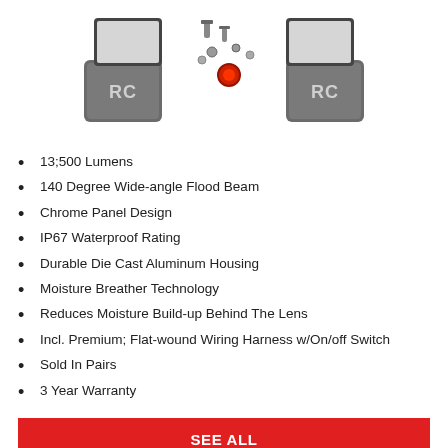[Figure (photo): Product photo of RC branded LED light pods with mounting hardware, covers, and a wiring harness switch against a white background]
13;500 Lumens
140 Degree Wide-angle Flood Beam
Chrome Panel Design
IP67 Waterproof Rating
Durable Die Cast Aluminum Housing
Moisture Breather Technology
Reduces Moisture Build-up Behind The Lens
Incl. Premium; Flat-wound Wiring Harness w/On/off Switch
Sold In Pairs
3 Year Warranty
SEE ALL